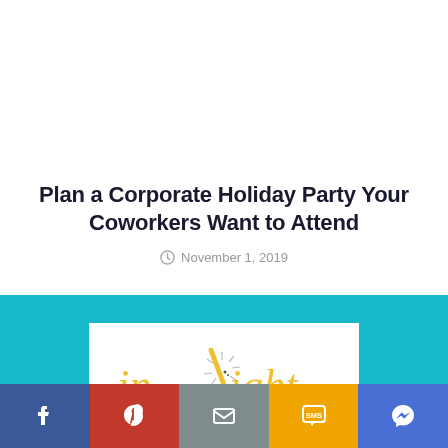Plan a Corporate Holiday Party Your Coworkers Want to Attend
November 1, 2019
[Figure (logo): In Light Photo Booths logo — cursive yellow 'in Light' text with starburst graphic on white background]
[Figure (infographic): Social sharing bar with five buttons: Facebook (blue), Pinterest (red), Email (gray), SMS (yellow), Messenger (blue)]